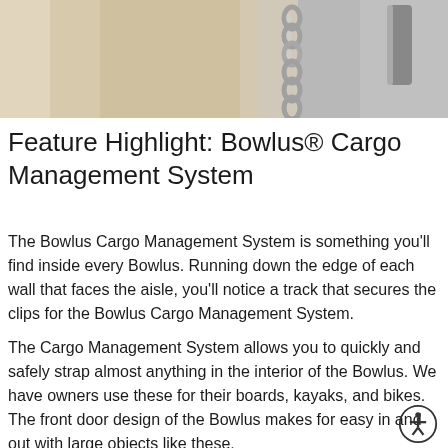[Figure (photo): Close-up photo of a metallic door hinge or latch mechanism on a light-colored wall or door frame]
Feature Highlight: Bowlus® Cargo Management System
The Bowlus Cargo Management System is something you'll find inside every Bowlus. Running down the edge of each wall that faces the aisle, you'll notice a track that secures the clips for the Bowlus Cargo Management System.
The Cargo Management System allows you to quickly and safely strap almost anything in the interior of the Bowlus. We have owners use these for their boards, kayaks, and bikes. The front door design of the Bowlus makes for easy in and out with large objects like these.